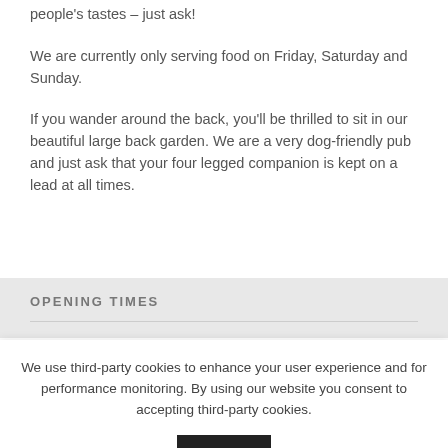people's tastes – just ask!
We are currently only serving food on Friday, Saturday and Sunday.
If you wander around the back, you'll be thrilled to sit in our beautiful large back garden. We are a very dog-friendly pub and just ask that your four legged companion is kept on a lead at all times.
OPENING TIMES
We use third-party cookies to enhance your user experience and for performance monitoring. By using our website you consent to accepting third-party cookies.
OK